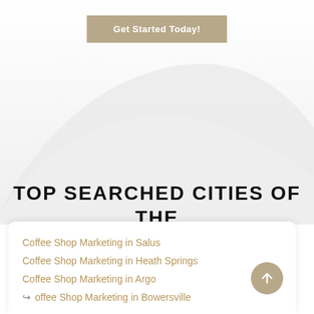[Figure (illustration): Mountain silhouette background in light gray/white tones serving as decorative background element]
Get Started Today!
TOP SEARCHED CITIES OF THE DAY...
Coffee Shop Marketing in Salus
Coffee Shop Marketing in Heath Springs
Coffee Shop Marketing in Argo
Coffee Shop Marketing in Bowersville